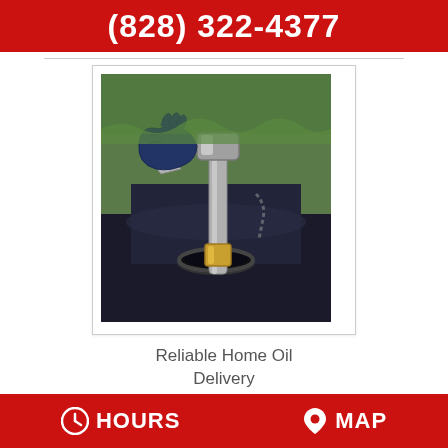(828) 322-4377
[Figure (photo): A gloved hand holding a fuel delivery nozzle inserted into a dark fuel tank opening, photographed outdoors with green background.]
Reliable Home Oil Delivery
HOURS   MAP